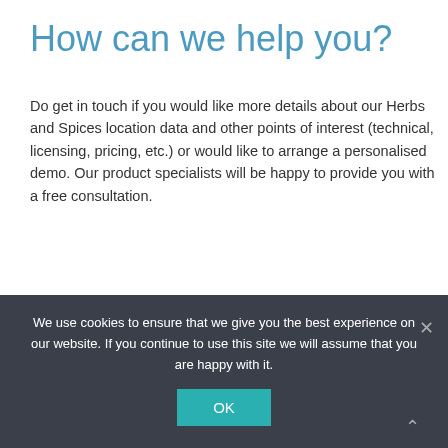How can we help you?
Do get in touch if you would like more details about our Herbs and Spices location data and other points of interest (technical, licensing, pricing, etc.) or would like to arrange a personalised demo. Our product specialists will be happy to provide you with a free consultation.
[Figure (infographic): Teal banner with clipboard check icon and 'Book a Demo' underlined text in white]
We use cookies to ensure that we give you the best experience on our website. If you continue to use this site we will assume that you are happy with it.